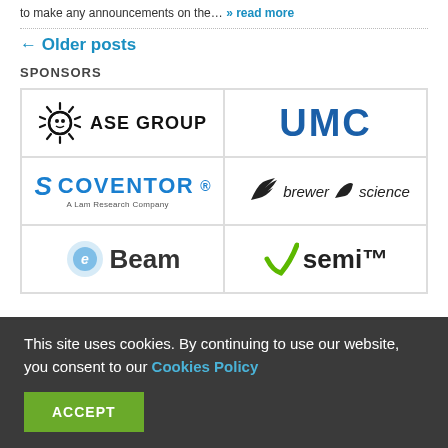to make any announcements on the… » read more
← Older posts
SPONSORS
[Figure (logo): ASE GROUP logo with sun/gear icon]
[Figure (logo): UMC logo in blue bold text]
[Figure (logo): Coventor logo with S icon - A Lam Research Company]
[Figure (logo): brewer science logo with bird graphic]
[Figure (logo): e-Beam logo partial]
[Figure (logo): semi logo with green checkmark partial]
This site uses cookies. By continuing to use our website, you consent to our Cookies Policy
ACCEPT